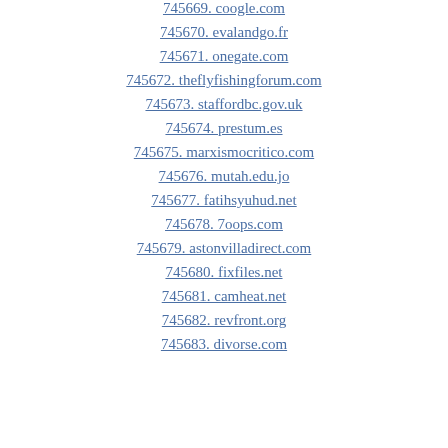745669. coogle.com
745670. evalandgo.fr
745671. onegate.com
745672. theflyfishingforum.com
745673. staffordbc.gov.uk
745674. prestum.es
745675. marxismocritico.com
745676. mutah.edu.jo
745677. fatihsyuhud.net
745678. 7oops.com
745679. astonvilladirect.com
745680. fixfiles.net
745681. camheat.net
745682. revfront.org
745683. divorse.com